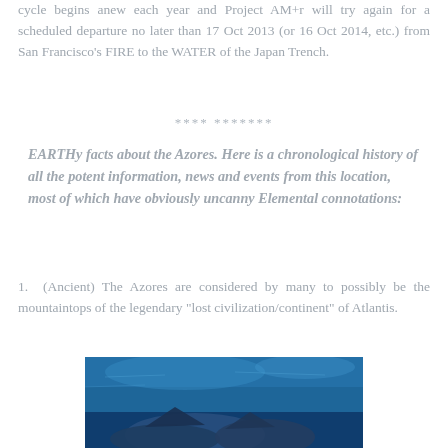cycle begins anew each year and Project AM+r will try again for a scheduled departure no later than 17 Oct 2013 (or 16 Oct 2014, etc.) from San Francisco's FIRE to the WATER of the Japan Trench.
**** *******
EARTHy facts about the Azores. Here is a chronological history of all the potent information, news and events from this location, most of which have obviously uncanny Elemental connotations:
1.  (Ancient) The Azores are considered by many to possibly be the mountaintops of the legendary “lost civilization/continent” of Atlantis.
[Figure (photo): Underwater or aerial photo showing blue water/ocean with what appears to be submerged or coastal terrain, likely related to the Azores or ocean imagery.]